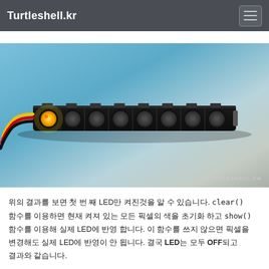Turtleshell.kr
[Figure (photo): A NeoPixel LED strip with 8 RGB LEDs on a black PCB board. The first LED on the left is lit up in yellow/orange color, while the remaining LEDs are off. Three colored wires (yellow, red, black) are connected to the left side of the strip. The background is a blue-to-gray gradient. Watermark reads TURTLESHELL.KR.]
위의 결과를 보면 첫 번 째 LED만 켜진것을 알 수 있습니다. clear() 함수를 이용하면 현재 켜져 있는 모든 픽셀의 색을 초기화 하고 show() 함수를 이용해 실제 LED에 반영 합니다. 이 함수를 쓰지 않으면 픽셀을 변경해도 실제 LED에 반영이 안 됩니다. 결국 LED는 모두 OFF되고 결과와 같습니다.